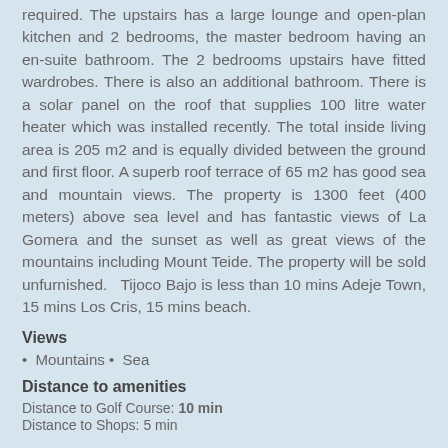required. The upstairs has a large lounge and open-plan kitchen and 2 bedrooms, the master bedroom having an en-suite bathroom. The 2 bedrooms upstairs have fitted wardrobes. There is also an additional bathroom. There is a solar panel on the roof that supplies 100 litre water heater which was installed recently. The total inside living area is 205 m2 and is equally divided between the ground and first floor. A superb roof terrace of 65 m2 has good sea and mountain views. The property is 1300 feet (400 meters) above sea level and has fantastic views of La Gomera and the sunset as well as great views of the mountains including Mount Teide. The property will be sold unfurnished.   Tijoco Bajo is less than 10 mins Adeje Town, 15 mins Los Cris, 15 mins beach.
Views
Mountains • Sea
Distance to amenities
Distance to Golf Course: 10 min
Distance to Shops: 5 min